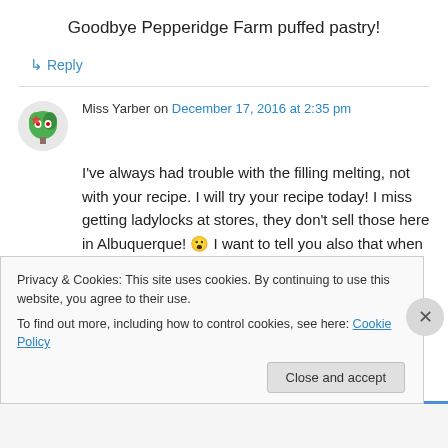Goodbye Pepperidge Farm puffed pastry!
↳ Reply
Miss Yarber on December 17, 2016 at 2:35 pm
I've always had trouble with the filling melting, not with your recipe. I will try your recipe today! I miss getting ladylocks at stores, they don't sell those here in Albuquerque! 😮 I want to tell you also that when I do make the ladylocks and I'm
Privacy & Cookies: This site uses cookies. By continuing to use this website, you agree to their use.
To find out more, including how to control cookies, see here: Cookie Policy
Close and accept